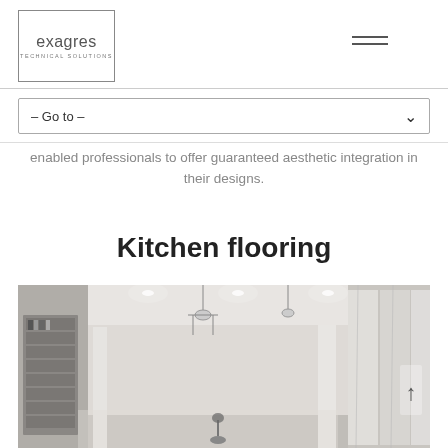exagres TECHNICAL SOLUTIONS
– Go to –
enabled professionals to offer guaranteed aesthetic integration in their designs.
Kitchen flooring
[Figure (photo): Black and white interior photo of a modern kitchen/living space with high ceilings, pendant lighting, large windows with drapes, and a bookshelf on the left. An upward arrow is visible on the right edge.]